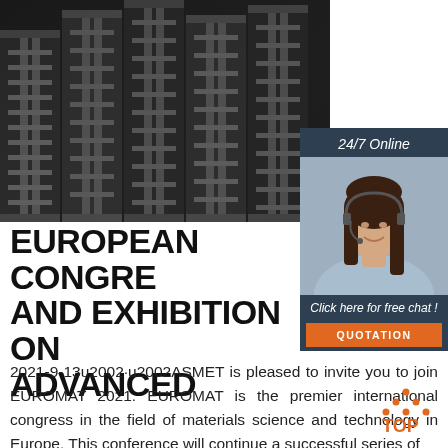[Figure (photo): Close-up photo of stacked steel I-beams / structural steel profiles, dark metallic appearance]
[Figure (illustration): Sidebar advertisement box with '24/7 Online' heading, photo of woman with headset, 'Click here for free chat!' text, and orange QUOTATION button]
EUROPEAN CONGRESS AND EXHIBITION ON ADVANCED
2021-9-13u2002·u2002ASMET is pleased to invite you to join EUROMAT 2021. EUROMAT is the premier international congress in the field of materials science and technology in Europe. This conference will continue a successful series of
[Figure (logo): TOP logo with orange triangular mountain/dots icon above orange text 'TOP']